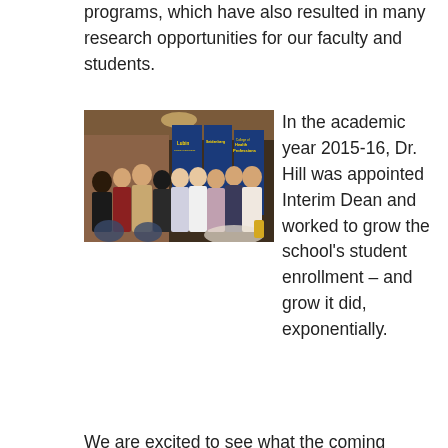programs, which have also resulted in many research opportunities for our faculty and students.
[Figure (photo): Group photo of faculty and students standing together in front of banners for Lubin School of Business, Seidenberg School of Computer Science and Information Systems, and College of Health Professions at what appears to be an indoor event.]
In the academic year 2015-16, Dr. Hill was appointed Interim Dean and worked to grow the school's student enrollment – and grow it did, exponentially.
We are excited to see what the coming years bring